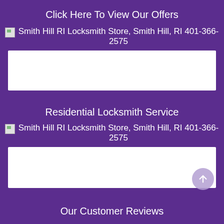Click Here To View Our Offers
[Figure (other): Broken image placeholder: Smith Hill RI Locksmith Store, Smith Hill, RI 401-366-2575]
[Figure (other): White image box placeholder (broken image)]
Residential Locksmith Service
[Figure (other): Broken image placeholder: Smith Hill RI Locksmith Store, Smith Hill, RI 401-366-2575]
[Figure (other): White image box placeholder (broken image)]
Our Customer Reviews